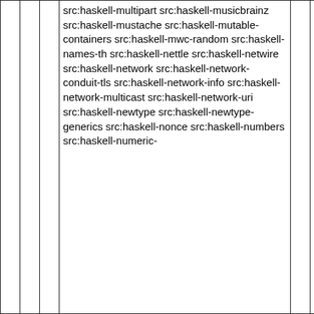|  |  |  | src:haskell-multipart src:haskell-musicbrainz src:haskell-mustache src:haskell-mutable-containers src:haskell-mwc-random src:haskell-names-th src:haskell-nettle src:haskell-netwire src:haskell-network src:haskell-network-conduit-tls src:haskell-network-info src:haskell-network-multicast src:haskell-network-uri src:haskell-newtype src:haskell-newtype-generics src:haskell-nonce src:haskell-numbers src:haskell-numeric- |  |  |